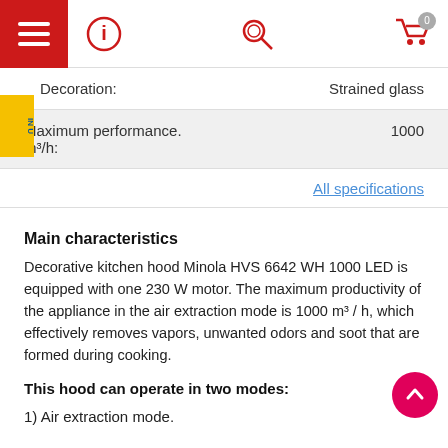Navigation bar with menu, info, search, and cart icons
| Property | Value |
| --- | --- |
| Decoration: | Strained glass |
| Maximum performance. m³/h: | 1000 |
All specifications
Main characteristics
Decorative kitchen hood Minola HVS 6642 WH 1000 LED is equipped with one 230 W motor. The maximum productivity of the appliance in the air extraction mode is 1000 m³ / h, which effectively removes vapors, unwanted odors and soot that are formed during cooking.
This hood can operate in two modes:
1) Air extraction mode.